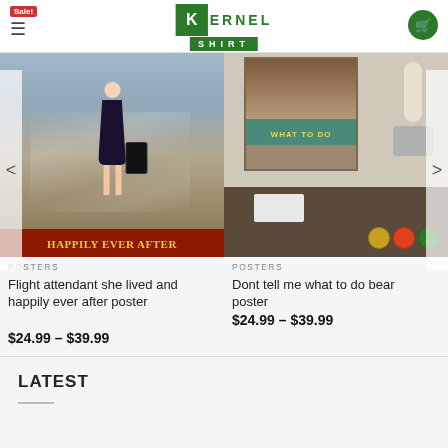KERNEL SHIRT
[Figure (photo): Flight attendant walking with luggage on airport tarmac, poster with text HAPPILY EVER AFTER]
POSTERS
Flight attendant she lived and happily ever after poster
$24.99 – $39.99
[Figure (photo): Bear poster with text WHAT TO DO displayed in a room setting on a desk]
POSTERS
Dont tell me what to do bear poster
$24.99 – $39.99
LATEST